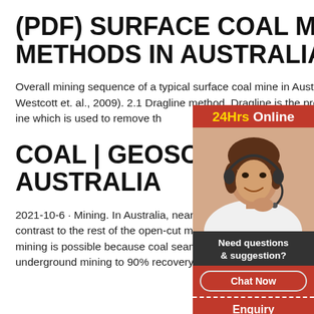(PDF) SURFACE COAL MINING METHODS IN AUSTRALIA
Overall mining sequence of a typical surface coal mine in Australia (after Westcott et. al., 2009). 2.1 Dragline method. Dragline is the predominant mach ine which is used to remove th
COAL | GEOSCIENCE AUSTRALIA
2021-10-6 · Mining. In Australia, nearly 80% of co from open-cut mines, in contrast to the rest of the open-cut mining only accounts for 40% of coal pro cut mining is possible because coal seams are cl Such mining is cheaper than underground mining to 90% recovery of the resource.
[Figure (photo): Advertisement widget showing a woman with a headset (customer service representative), with a red background. Contains '24Hrs Online' header in yellow/white text, 'Need questions & suggestion?' text, a 'Chat Now' button, 'Enquiry' link, and 'limingjlmofen' text.]